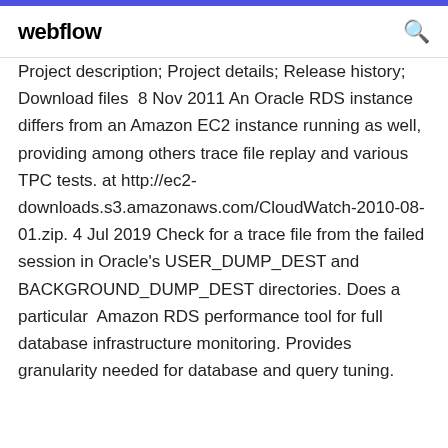webflow
Project description; Project details; Release history; Download files  8 Nov 2011 An Oracle RDS instance differs from an Amazon EC2 instance running as well, providing among others trace file replay and various TPC tests. at http://ec2-downloads.s3.amazonaws.com/CloudWatch-2010-08-01.zip. 4 Jul 2019 Check for a trace file from the failed session in Oracle's USER_DUMP_DEST and BACKGROUND_DUMP_DEST directories. Does a particular  Amazon RDS performance tool for full database infrastructure monitoring. Provides granularity needed for database and query tuning.